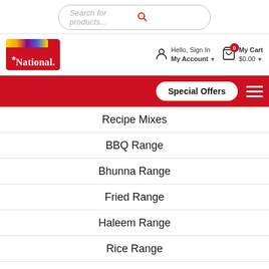[Figure (screenshot): Search bar with placeholder text 'Search for products...' and a red search icon, rounded border]
[Figure (logo): National Foods logo - red box with rainbow ribbon and white text 'National.' with star]
Hello, Sign In
My Account
0
My Cart
$0.00
Special Offers
Recipe Mixes
BBQ Range
Bhunna Range
Fried Range
Haleem Range
Rice Range
Salan Range
Seasoning & Snacks